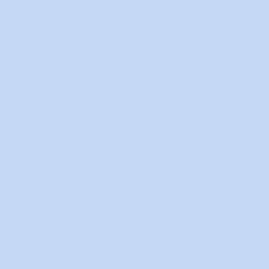Bookmarks
Digg   del.icio.us   Stumble
Popular Threads
Slip's Music Database: MapleStory BGM Collection
Maplestory 2, Aanyeong
Rules and Regulations [UPDATED: 2014
[1.2.318] [KOR] Adventurer Skill Revamp
MapleStory Calendar Thread (Image He [Jan. 2011]